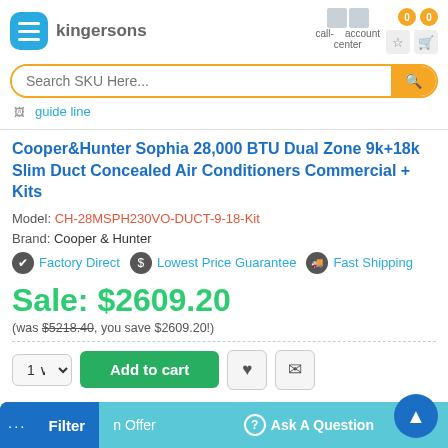[Figure (screenshot): E-commerce product page for Cooper&Hunter Sophia 28,000 BTU Dual Zone 9k+18k Slim Duct Concealed Air Conditioners Commercial + Kits on kingersons.com]
Cooper&Hunter Sophia 28,000 BTU Dual Zone 9k+18k Slim Duct Concealed Air Conditioners Commercial + Kits
Model: CH-28MSPH230VO-DUCT-9-18-Kit
Brand: Cooper & Hunter
Factory Direct  Lowest Price Guarantee  Fast Shipping
Sale: $2609.20
(was $5218.40, you save $2609.20!)